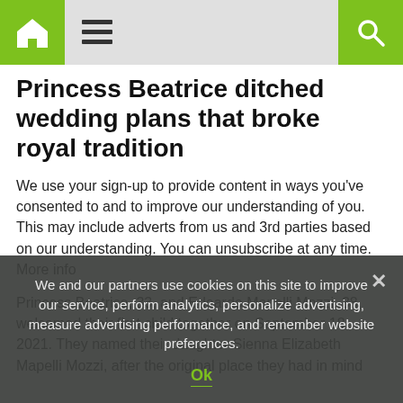Home menu search
Princess Beatrice ditched wedding plans that broke royal tradition
We use your sign-up to provide content in ways you've consented to and to improve our understanding of you. This may include adverts from us and 3rd parties based on our understanding. You can unsubscribe at any time. More info
Princess Beatrice, 33, and Edoardo Mapelli Mozzi, 38, welcomed their first child together on September 18, 2021. They named their daughter Sienna Elizabeth Mapelli Mozzi, after the original place they had in mind
We and our partners use cookies on this site to improve our service, perform analytics, personalize advertising, measure advertising performance, and remember website preferences.
Ok